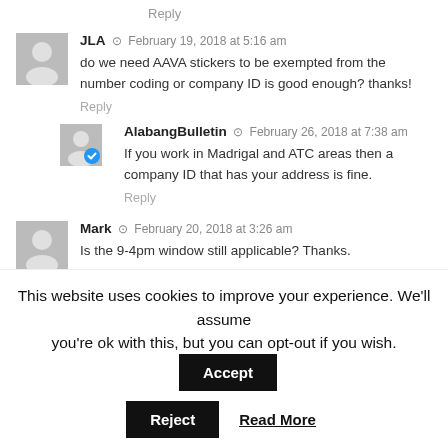Reply
JLA  February 19, 2018 at 5:16 am
do we need AAVA stickers to be exempted from the number coding or company ID is good enough? thanks!
Reply
AlabangBulletin  February 26, 2018 at 7:38 am
If you work in Madrigal and ATC areas then a company ID that has your address is fine.
Reply
Mark  February 20, 2018 at 3:26 am
Is the 9-4pm window still applicable? Thanks.
This website uses cookies to improve your experience. We'll assume you're ok with this, but you can opt-out if you wish.
Accept
Reject
Read More